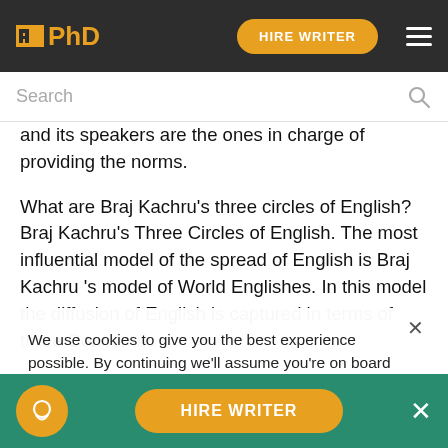IPhD | HIRE WRITER
Search
and its speakers are the ones in charge of providing the norms.
What are Braj Kachru's three circles of English? Braj Kachru's Three Circles of English. The most influential model of the spread of English is Braj Kachru 's model of World Englishes. In this model the diffusion of English is captured in terms of three Concentric Circles of the language. The Inner Circle, the Outer Circle and the Expanding Circle.
We use cookies to give you the best experience possible. By continuing we'll assume you're on board with our cookie policy
This essay was written by a fellow student. You can use it
HIRE WRITER